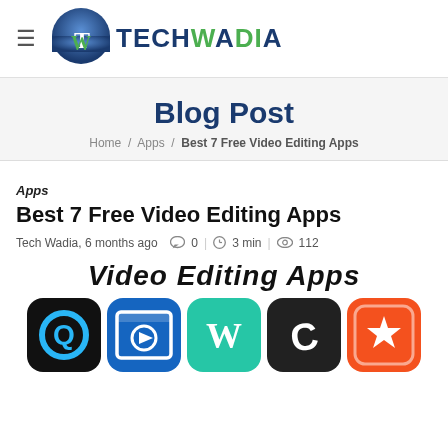Tech Wadia
Blog Post
Home / Apps / Best 7 Free Video Editing Apps
Apps
Best 7 Free Video Editing Apps
Tech Wadia, 6 months ago   0  |  3 min  |  112
[Figure (screenshot): Article featured image showing 'Video Editing Apps' text with five app icons below: a blue/black icon, a blue film reel icon, a teal icon with W, a black icon with C, and an orange icon with a star/film mark.]